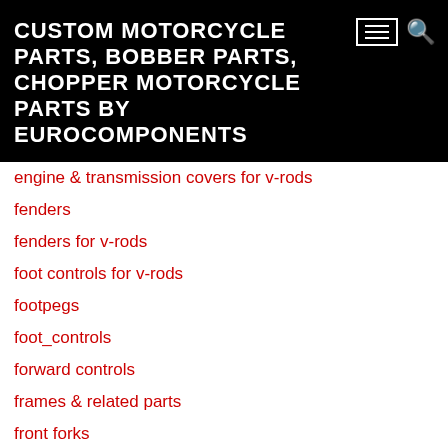CUSTOM MOTORCYCLE PARTS, BOBBER PARTS, CHOPPER MOTORCYCLE PARTS BY EUROCOMPONENTS
engine & transmission covers for v-rods
fenders
fenders for v-rods
foot controls for v-rods
footpegs
foot_controls
forward controls
frames & related parts
front forks
front forks for v-rods
front pulleys for v-rods